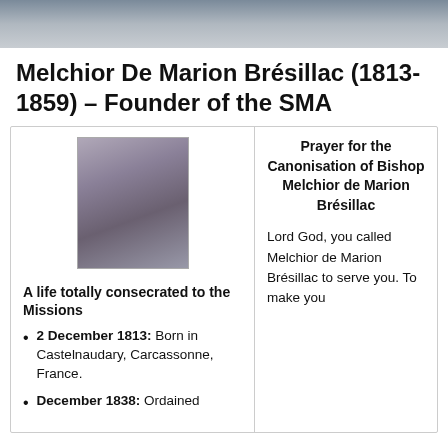[Figure (photo): Faded dark photo strip at the top of the page, appears to be a partial landscape or architectural photo]
Melchior De Marion Brésillac (1813-1859) – Founder of the SMA
[Figure (photo): Portrait photo of Melchior De Marion Brésillac, a man with long dark hair and beard, wearing a dark clerical garment with a light collar]
A life totally consecrated to the Missions
2 December 1813: Born in Castelnaudary, Carcassonne, France.
December 1838: Ordained
Prayer for the Canonisation of Bishop Melchior de Marion Brésillac
Lord God, you called Melchior de Marion Brésillac to serve you. To make you